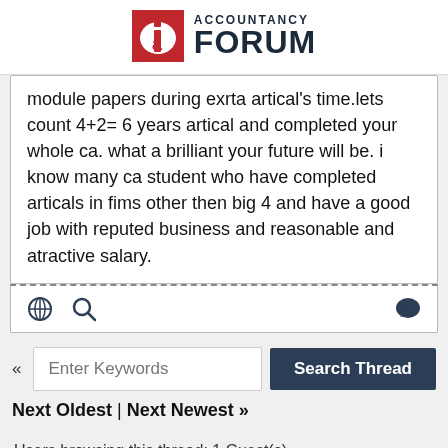ACCOUNTANCY FORUM
module papers during exrta artical's time.lets count 4+2= 6 years artical and completed your whole ca. what a brilliant your future will be. i know many ca student who have completed articals in fims other then big 4 and have a good job with reputed business and reasonable and atractive salary.
« Enter Keywords Search Thread
Next Oldest | Next Newest »
Users browsing this thread: 1 Guest(s)